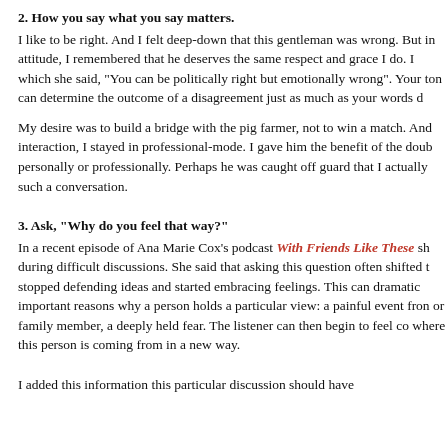2. How you say what you say matters.
I like to be right. And I felt deep-down that this gentleman was wrong. But in my attitude, I remembered that he deserves the same respect and grace I do. I which she said, "You can be politically right but emotionally wrong". Your ton can determine the outcome of a disagreement just as much as your words d
My desire was to build a bridge with the pig farmer, not to win a match. And interaction, I stayed in professional-mode. I gave him the benefit of the doub personally or professionally. Perhaps he was caught off guard that I actually such a conversation.
3. Ask, "Why do you feel that way?"
In a recent episode of Ana Marie Cox's podcast With Friends Like These sh during difficult discussions. She said that asking this question often shifted t stopped defending ideas and started embracing feelings. This can dramatic important reasons why a person holds a particular view: a painful event fron or family member, a deeply held fear. The listener can then begin to feel co where this person is coming from in a new way.
I added this information this particular discussion should have